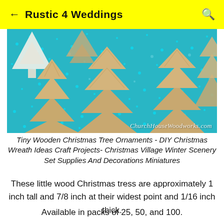Rustic 4 Weddings
[Figure (photo): Tiny wooden Christmas tree ornaments on a blue glitter background, multiple tree shapes in natural wood color, watermark reads ChurchHouseWoodworks.com]
Tiny Wooden Christmas Tree Ornaments - DIY Christmas Wreath Ideas Craft Projects- Christmas Village Winter Scenery Set Supplies And Decorations Miniatures
These little wood Christmas tress are approximately 1 inch tall and 7/8 inch at their widest point and 1/16 inch thick.
Available in packs of 25, 50, and 100.